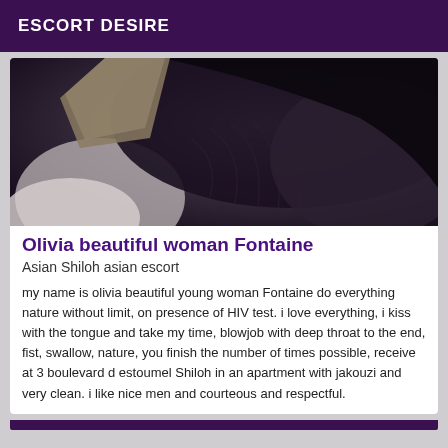ESCORT DESIRE
[Figure (photo): Close-up photo of a woman with dark hair wearing a dark outfit, cropped view of shoulder and hair]
Olivia beautiful woman Fontaine
Asian Shiloh asian escort
my name is olivia beautiful young woman Fontaine do everything nature without limit, on presence of HIV test. i love everything, i kiss with the tongue and take my time, blowjob with deep throat to the end, fist, swallow, nature, you finish the number of times possible, receive at 3 boulevard d estoumel Shiloh in an apartment with jakouzi and very clean. i like nice men and courteous and respectful.